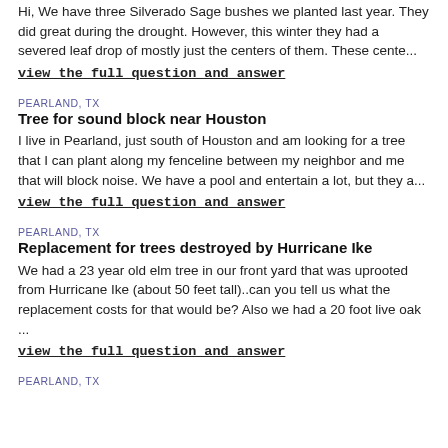Hi, We have three Silverado Sage bushes we planted last year. They did great during the drought. However, this winter they had a severed leaf drop of mostly just the centers of them. These cente…
view the full question and answer
PEARLAND, TX
Tree for sound block near Houston
I live in Pearland, just south of Houston and am looking for a tree that I can plant along my fenceline between my neighbor and me that will block noise. We have a pool and entertain a lot, but they a…
view the full question and answer
PEARLAND, TX
Replacement for trees destroyed by Hurricane Ike
We had a 23 year old elm tree in our front yard that was uprooted from Hurricane Ike (about 50 feet tall)..can you tell us what the replacement costs for that would be? Also we had a 20 foot live oak …
view the full question and answer
PEARLAND, TX